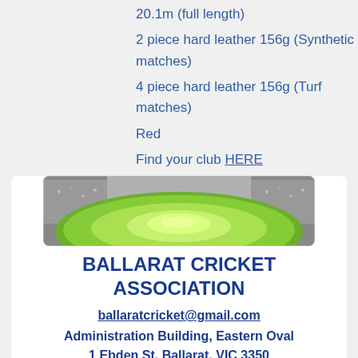20.1m (full length)
2 piece hard leather 156g (Synthetic matches)
4 piece hard leather 156g (Turf matches)
Red
Find your club HERE
[Figure (photo): Aerial view of a cricket oval with a vivid green pitch under floodlights, surrounded by grandstands full of spectators — used as a banner image for Ballarat Cricket Association]
BALLARAT CRICKET ASSOCIATION
ballaratcricket@gmail.com
Administration Building, Eastern Oval
1 Ebden St, Ballarat, VIC 3350